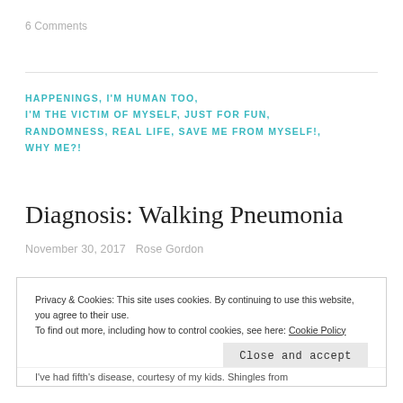6 Comments
HAPPENINGS, I'M HUMAN TOO, I'M THE VICTIM OF MYSELF, JUST FOR FUN, RANDOMNESS, REAL LIFE, SAVE ME FROM MYSELF!, WHY ME?!
Diagnosis: Walking Pneumonia
November 30, 2017   Rose Gordon
Privacy & Cookies: This site uses cookies. By continuing to use this website, you agree to their use. To find out more, including how to control cookies, see here: Cookie Policy
Close and accept
I've had fifth's disease, courtesy of my kids. Shingles from